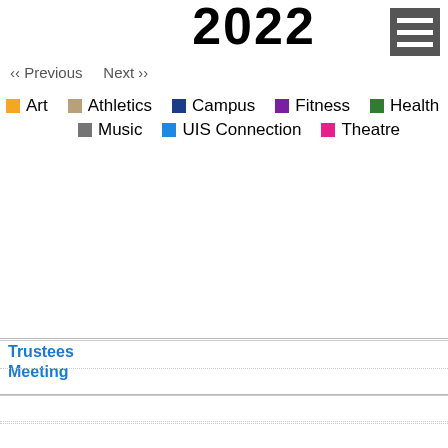2022
‹‹ Previous   Next ››
Art · Athletics · Campus · Fitness · Health · Music · UIS Connection · Theatre
Trustees Meeting